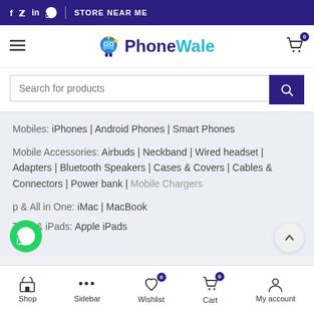f  in  [whatsapp] | STORE NEAR ME
[Figure (logo): PhoneWale logo with mascot robot character, 'Phone' in dark purple and 'Wale' in cyan/blue]
Search for products
Mobiles: iPhones | Android Phones | Smart Phones
Mobile Accessories: Airbuds | Neckband | Wired headset | Adapters | Bluetooth Speakers | Cases & Covers | Cables & Connectors | Power bank | Mobile Chargers
...p & All in One: iMac | MacBook
Tabs & iPads: Apple iPads
Shop  Sidebar  Wishlist 0  Cart 0  My account